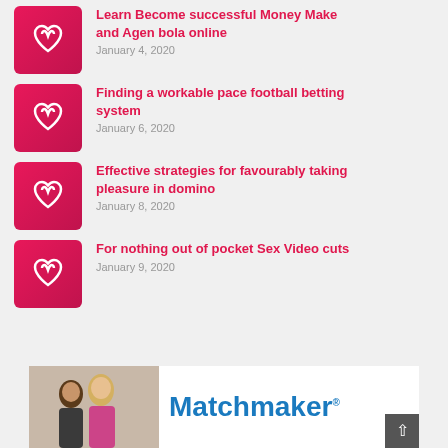Learn Become successful Money Make and Agen bola online | January 4, 2020
Finding a workable pace football betting system | January 6, 2020
Effective strategies for favourably taking pleasure in domino | January 8, 2020
For nothing out of pocket Sex Video cuts | January 9, 2020
[Figure (photo): Matchmaker advertisement banner with couple photo and Matchmaker logo text in blue]